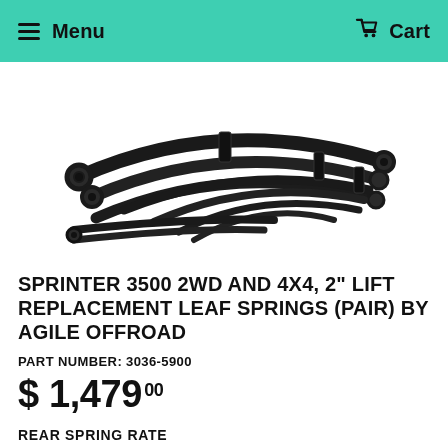Menu   Cart
[Figure (photo): Pair of black leaf springs for vehicle suspension, shown stacked and spread apart to display the set.]
SPRINTER 3500 2WD AND 4X4, 2" LIFT REPLACEMENT LEAF SPRINGS (PAIR) BY AGILE OFFROAD
PART NUMBER: 3036-5900
$ 1,479.00
REAR SPRING RATE